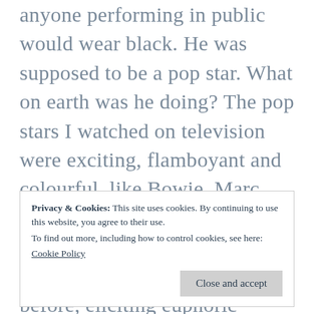anyone performing in public would wear black. He was supposed to be a pop star. What on earth was he doing? The pop stars I watched on television were exciting, flamboyant and colourful, like Bowie, Marc Bolan and er…David Essex. They owned the stage in much the same way as Elvis had before, eliciting euphoric rapture from their audience and procuring pubescent puddles on the seats of auditoria all over the world. But not this guy. What was his problem, apart from being blind of course?
Privacy & Cookies: This site uses cookies. By continuing to use this website, you agree to their use.
To find out more, including how to control cookies, see here:
Cookie Policy
Close and accept